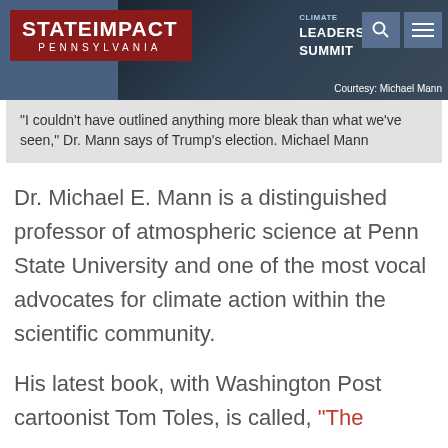StateImpact Pennsylvania
[Figure (photo): Photo of person at a Climate Leadership Summit event, with StateImpact Pennsylvania logo overlay and search/menu icons in top right. Text reads 'CLIMATE LEADERSHIP SUMMIT' and 'Courtesy: Michael Mann']
"I couldn't have outlined anything more bleak than what we've seen," Dr. Mann says of Trump's election. Michael Mann
Dr. Michael E. Mann is a distinguished professor of atmospheric science at Penn State University and one of the most vocal advocates for climate action within the scientific community.
His latest book, with Washington Post cartoonist Tom Toles, is called, "The